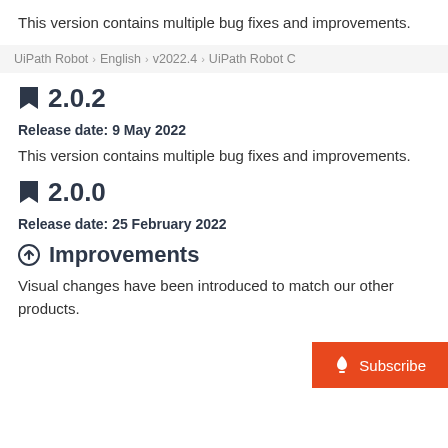This version contains multiple bug fixes and improvements.
UiPath Robot > English > v2022.4 > UiPath Robot C
2.0.2
Release date: 9 May 2022
This version contains multiple bug fixes and improvements.
2.0.0
Release date: 25 February 2022
Improvements
Visual changes have been introduced to match our other products.